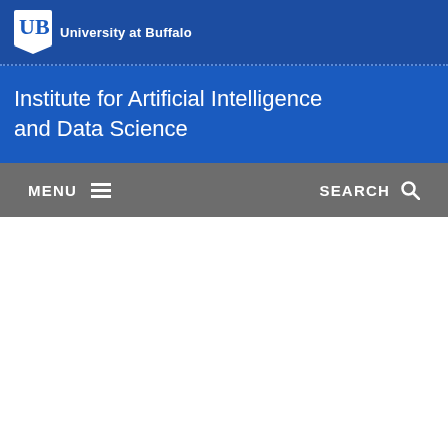[Figure (logo): University at Buffalo UB shield logo with text 'University at Buffalo']
Institute for Artificial Intelligence and Data Science
MENU  SEARCH